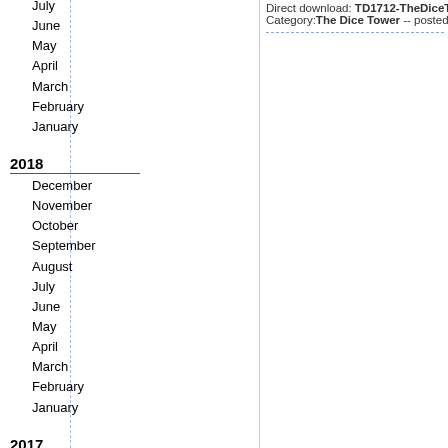July
June
May
April
March
February
January
2018
December
November
October
September
August
July
June
May
April
March
February
January
2017
December
November
October
September
August
July
June
May
April
March
Direct download: TD1712-TheDiceTower-Episode71...
Category: The Dice Tower -- posted at: 3:00am PDT